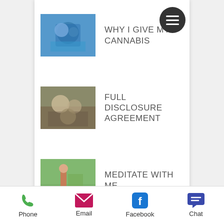[Figure (screenshot): Mobile website navigation with three list items each with a thumbnail image and uppercase label. First item: thumbnail of person with blue background, label WHY I GIVE MY CANNABIS with hamburger menu circle icon. Second item: thumbnail of two people indoors, label FULL DISCLOSURE AGREEMENT. Third item: thumbnail of person outdoors in park, label MEDITATE WITH ME.]
Phone | Email | Facebook | Chat